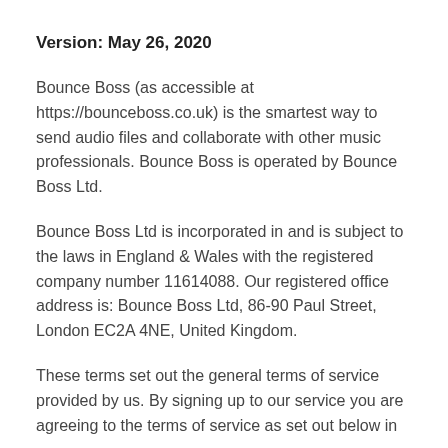Version: May 26, 2020
Bounce Boss (as accessible at https://bounceboss.co.uk) is the smartest way to send audio files and collaborate with other music professionals. Bounce Boss is operated by Bounce Boss Ltd.
Bounce Boss Ltd is incorporated in and is subject to the laws in England & Wales with the registered company number 11614088. Our registered office address is: Bounce Boss Ltd, 86-90 Paul Street, London EC2A 4NE, United Kingdom.
These terms set out the general terms of service provided by us. By signing up to our service you are agreeing to the terms of service as set out below in